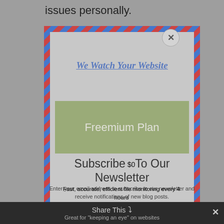issues personally.
[Figure (screenshot): Air mail styled newsletter popup modal with blue and red diagonal stripe border, containing a link 'We Watch Your Website', a green Freemium Plan button, and a Subscribe To Our Newsletter form overlay]
We Watch Your Website
Freemium Plan
$0
Subscribe To Our Newsletter
Enter your email address to subscribe to our newsletter and receive notifications of new blog posts.
Fast, accurate, efficient file monitoring every 4 hours
Email alerts for malicious code
Great for "keeping an eye" on websites
Share This